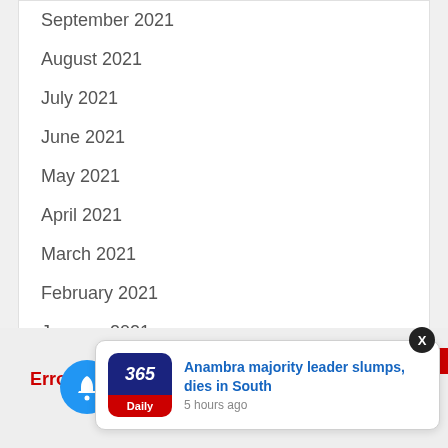September 2021
August 2021
July 2021
June 2021
May 2021
April 2021
March 2021
February 2021
January 2021
December 2020
November 2020
October 2020
September 2020
Erro no Adver
[Figure (screenshot): 365 Daily app logo with notification popup showing 'Anambra majority leader slumps, dies in South - 5 hours ago']